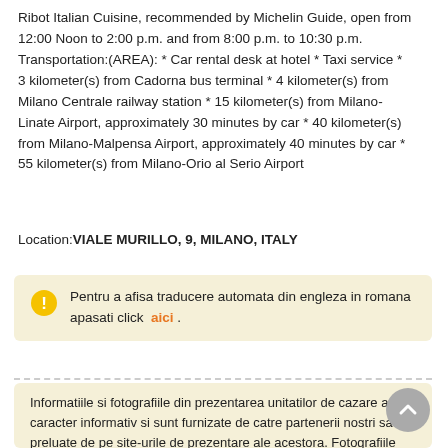Ribot Italian Cuisine, recommended by Michelin Guide, open from 12:00 Noon to 2:00 p.m. and from 8:00 p.m. to 10:30 p.m. Transportation:(AREA): * Car rental desk at hotel * Taxi service * 3 kilometer(s) from Cadorna bus terminal * 4 kilometer(s) from Milano Centrale railway station * 15 kilometer(s) from Milano-Linate Airport, approximately 30 minutes by car * 40 kilometer(s) from Milano-Malpensa Airport, approximately 40 minutes by car * 55 kilometer(s) from Milano-Orio al Serio Airport
Location:VIALE MURILLO, 9, MILANO, ITALY
Pentru a afisa traducere automata din engleza in romana apasati click  aici .
Informatiile si fotografiile din prezentarea unitatilor de cazare au caracter informativ si sunt furnizate de catre partenerii nostri sau preluate de pe site-urile de prezentare ale acestora. Fotografiile prezentate pe site sunt generice si nu pot fi considerata contractuale, ele reprezentand doar efortul nostru de a imbunatatii